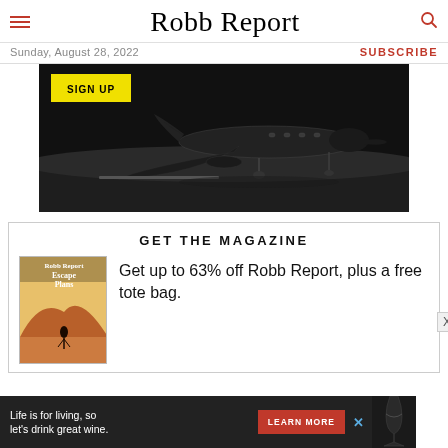Robb Report
Sunday, August 28, 2022   SUBSCRIBE
[Figure (photo): Black and white photo of a private jet on a tarmac at night, with a yellow SIGN UP button overlay in the upper left]
[Figure (illustration): Promotional box: GET THE MAGAZINE header, Robb Report magazine cover showing 'Escape Plans' with mountain landscape illustration, text reading 'Get up to 63% off Robb Report, plus a free tote bag.']
[Figure (photo): Bottom advertisement banner: 'Life is for living, so let's drink great wine.' with a LEARN MORE button and wine glass image, blue X close button]